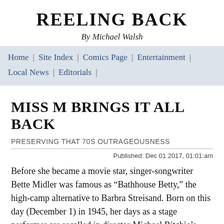REELING BACK
By Michael Walsh
Home | Site Index | Comics Page | Entertainment | Local News | Editorials |
MISS M BRINGS IT ALL BACK
PRESERVING THAT 70S OUTRAGEOUSNESS
Published: Dec 01 2017, 01:01:am
Before she became a movie star, singer-songwriter Bette Midler was famous as “Bathhouse Betty,” the high-camp alternative to Barbra Streisand. Born on this day (December 1) in 1945, her days as a stage performer are recalled in director Michael Ritchie’s 1980 concert feature